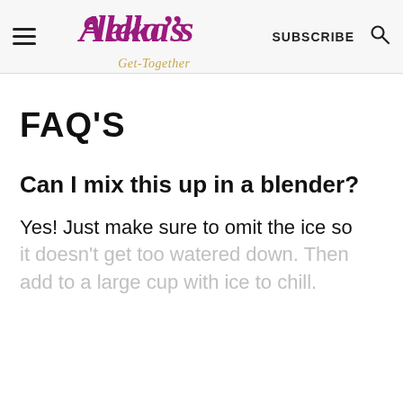Aleka's Get-Together | SUBSCRIBE
FAQ'S
Can I mix this up in a blender?
Yes! Just make sure to omit the ice so it doesn't get too watered down. Then add to a large cup with ice to chill.